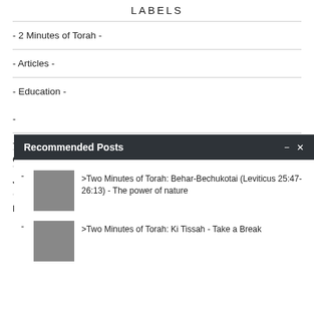LABELS
- 2 Minutes of Torah -
- Articles -
- Education -
-
[Figure (screenshot): Recommended Posts overlay panel with two post entries: '>Two Minutes of Torah: Behar-Bechukotai (Leviticus 25:47-26:13) - The power of nature' and '>Two Minutes of Torah: Ki Tissah - Take a Break', each with a gray thumbnail image. Panel has minimize and close controls.]
- C
JDate Rabbi
Pesach in St. Petersburg